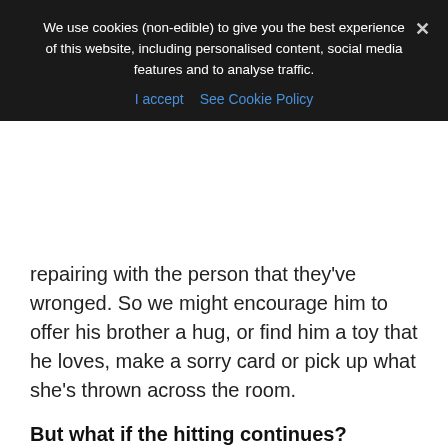We use cookies (non-edible) to give you the best experience of this website, including personalised content, social media features and to analyse traffic.
I accept  See Cookie Policy
repairing with the person that they've wronged. So we might encourage him to offer his brother a hug, or find him a toy that he loves, make a sorry card or pick up what she's thrown across the room.
But what if the hitting continues?
2. Hey, spaghetti arms...
Wherever your 'Time In' ends up (perhaps you crawl under the table with them), your child is still in fight